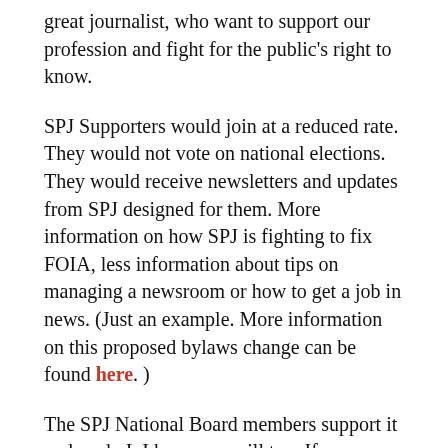great journalist, who want to support our profession and fight for the public's right to know.
SPJ Supporters would join at a reduced rate. They would not vote on national elections. They would receive newsletters and updates from SPJ designed for them. More information on how SPJ is fighting to fix FOIA, less information about tips on managing a newsroom or how to get a job in news. (Just an example. More information on this proposed bylaws change can be found here. )
The SPJ National Board members support it and so do I. I hope you will too. If you are not a chapter delegate, please contact your local chapters asking them to support it.
Let's help bring the possibility of impact and influence back to journalists, the public and SPJ.
Lynn Walsh is the current President-Elect for SPJ. In her “day job” she manages and leads the NBC 7 Investigates team in San Diego. She loves holding the powerful accountable and